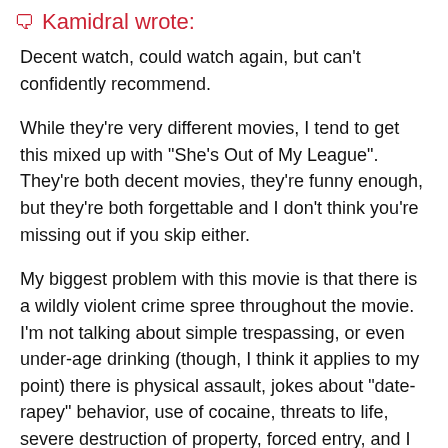Kamidral wrote:
Decent watch, could watch again, but can't confidently recommend.
While they're very different movies, I tend to get this mixed up with "She's Out of My League". They're both decent movies, they're funny enough, but they're both forgettable and I don't think you're missing out if you skip either.
My biggest problem with this movie is that there is a wildly violent crime spree throughout the movie. I'm not talking about simple trespassing, or even under-age drinking (though, I think it applies to my point) there is physical assault, jokes about "date-rapey" behavior, use of cocaine, threats to life, severe destruction of property, forced entry, and I think illegal tracking, quite a bit is just done openly in front of adults / authority figures, and at one point in uniform. It's one thing to be a little lenient